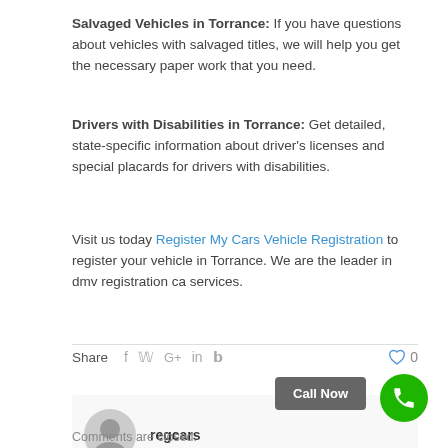Salvaged Vehicles in Torrance: If you have questions about vehicles with salvaged titles, we will help you get the necessary paper work that you need.
Drivers with Disabilities in Torrance: Get detailed, state-specific information about driver's licenses and special placards for drivers with disabilities.
Visit us today Register My Cars Vehicle Registration to register your vehicle in Torrance. We are the leader in dmv registration ca services.
Share
regcars
Call Now
Comments are closed.